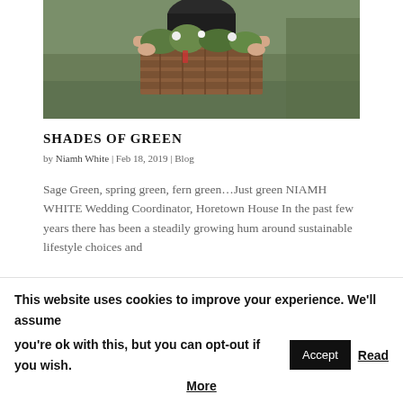[Figure (photo): Person holding a rustic wooden box filled with green foliage and white flowers, standing outdoors on grass]
SHADES OF GREEN
by Niamh White | Feb 18, 2019 | Blog
Sage Green, spring green, fern green…Just green NIAMH WHITE Wedding Coordinator, Horetown House In the past few years there has been a steadily growing hum around sustainable lifestyle choices and
This website uses cookies to improve your experience. We'll assume you're ok with this, but you can opt-out if you wish. Accept Read More